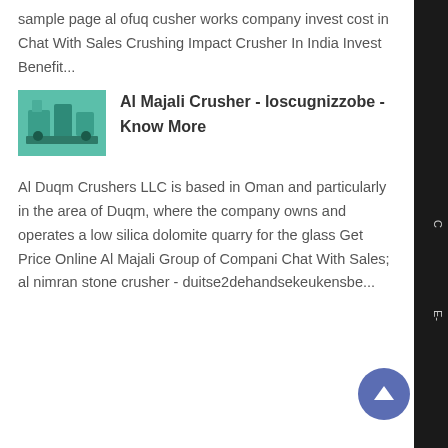sample page al ofuq cusher works company invest cost in Chat With Sales Crushing Impact Crusher In India Invest Benefit...
[Figure (photo): Small thumbnail photo of green/teal industrial crusher equipment]
Al Majali Crusher - loscugnizzobe - Know More
Al Duqm Crushers LLC is based in Oman and particularly in the area of Duqm, where the company owns and operates a low silica dolomite quarry for the glass Get Price Online Al Majali Group of Compani Chat With Sales; al nimran stone crusher - duitse2dehandsekeukensbe...